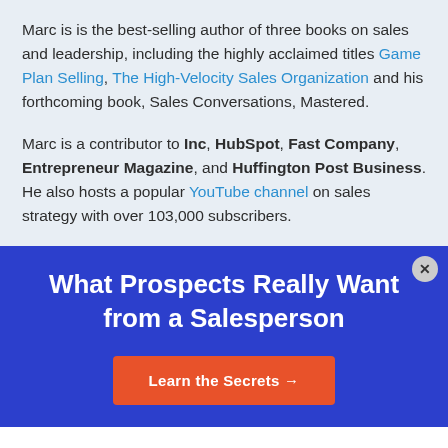Marc is is the best-selling author of three books on sales and leadership, including the highly acclaimed titles Game Plan Selling, The High-Velocity Sales Organization and his forthcoming book, Sales Conversations, Mastered.
Marc is a contributor to Inc, HubSpot, Fast Company, Entrepreneur Magazine, and Huffington Post Business. He also hosts a popular YouTube channel on sales strategy with over 103,000 subscribers.
What Prospects Really Want from a Salesperson
Learn the Secrets →